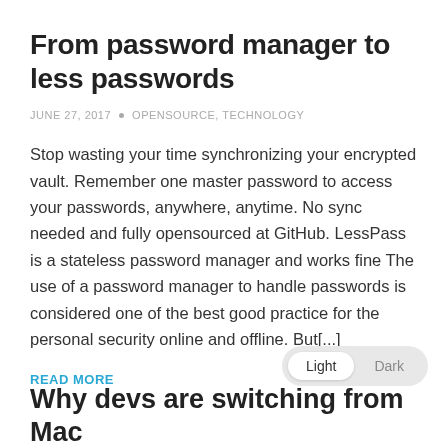From password manager to less passwords
JUNE 27, 2017  •  OPENSOURCE, TECHNOLOGY
Stop wasting your time synchronizing your encrypted vault. Remember one master password to access your passwords, anywhere, anytime. No sync needed and fully opensourced at GitHub. LessPass is a stateless password manager and works fine The use of a password manager to handle passwords is considered one of the best good practice for the personal security online and offline. But[...]
READ MORE
Why devs are switching from Mac